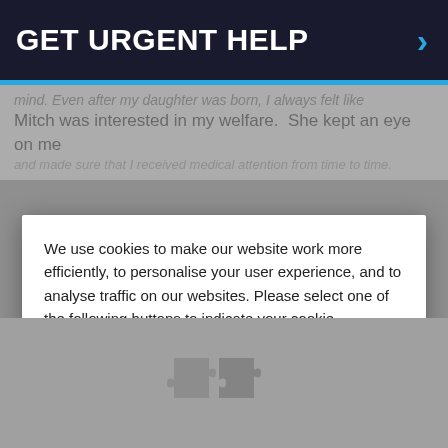GET URGENT HELP
mind. Even after my daughter was born, I always felt like Mitch was interested in my welfare. She kept an eye on me and made sure that I received medical attention from time to time.
We use cookies to make our website work more efficiently, to personalise your user experience, and to analyse traffic on our websites. Please select one of the following buttons to indicate your cookie preference. Full details about the cookies we use can be found in our Cookies Notice.
Cookie settings
REJECT
ACCEPT
[Figure (illustration): Puzzle pieces icon in gray on gray background]